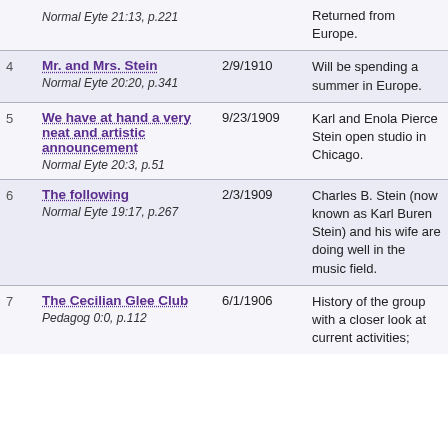| # | Title / Source | Date | Description |
| --- | --- | --- | --- |
|  | Normal Eyte 21:13, p.221 |  | Returned from Europe. |
| 4 | Mr. and Mrs. Stein
Normal Eyte 20:20, p.341 | 2/9/1910 | Will be spending a summer in Europe. |
| 5 | We have at hand a very neat and artistic announcement
Normal Eyte 20:3, p.51 | 9/23/1909 | Karl and Enola Pierce Stein open studio in Chicago. |
| 6 | The following
Normal Eyte 19:17, p.267 | 2/3/1909 | Charles B. Stein (now known as Karl Buren Stein) and his wife are doing well in the music field. |
| 7 | The Cecilian Glee Club
Pedag 0:0, p.112 | 6/1/1906 | History of the group with a closer look at current activities; |